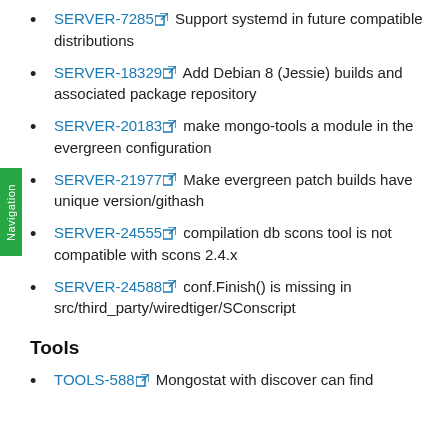SERVER-7285 Support systemd in future compatible distributions
SERVER-18329 Add Debian 8 (Jessie) builds and associated package repository
SERVER-20183 make mongo-tools a module in the evergreen configuration
SERVER-21977 Make evergreen patch builds have unique version/githash
SERVER-24555 compilation db scons tool is not compatible with scons 2.4.x
SERVER-24588 conf.Finish() is missing in src/third_party/wiredtiger/SConscript
Tools
TOOLS-588 Mongostat with discover can find